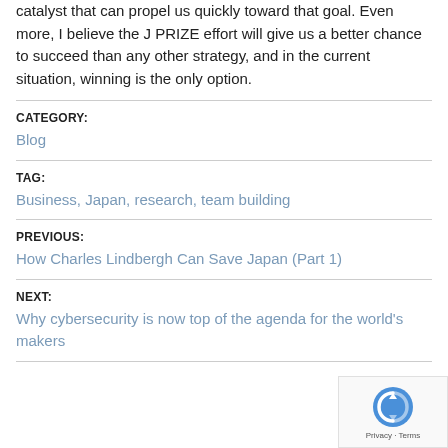catalyst that can propel us quickly toward that goal. Even more, I believe the J PRIZE effort will give us a better chance to succeed than any other strategy, and in the current situation, winning is the only option.
CATEGORY:
Blog
TAG:
Business, Japan, research, team building
PREVIOUS:
How Charles Lindbergh Can Save Japan (Part 1)
NEXT:
Why cybersecurity is now top of the agenda for the world's makers